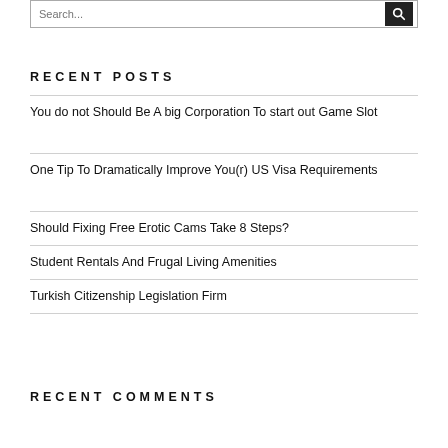[Figure (other): Search input box with search icon button]
RECENT POSTS
You do not Should Be A big Corporation To start out Game Slot
One Tip To Dramatically Improve You(r) US Visa Requirements
Should Fixing Free Erotic Cams Take 8 Steps?
Student Rentals And Frugal Living Amenities
Turkish Citizenship Legislation Firm
RECENT COMMENTS